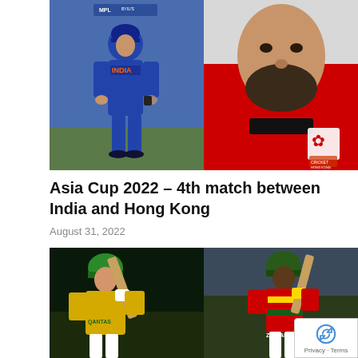[Figure (photo): Split image: left side shows an India cricket player in blue uniform on a field, right side shows a Hong Kong cricket player in red uniform]
Asia Cup 2022 – 4th match between India and Hong Kong
August 31, 2022
[Figure (photo): Split image: left side shows an Australia cricket batsman in yellow kit playing a shot, right side shows a Zimbabwe cricket batsman in striped kit playing a shot]